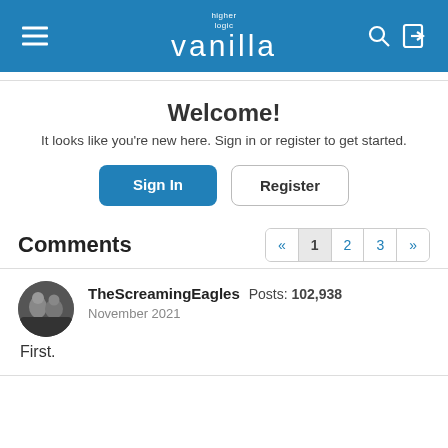higher logic vanilla — navigation header with hamburger menu, search, and sign-in icons
Welcome!
It looks like you're new here. Sign in or register to get started.
Sign In | Register
Comments
Pagination: « 1 2 3 »
TheScreamingEagles  Posts: 102,938
November 2021
First.